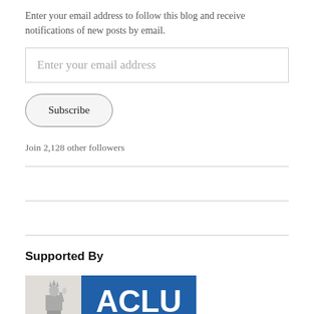Enter your email address to follow this blog and receive notifications of new posts by email.
Enter your email address
Subscribe
Join 2,128 other followers
Supported By
[Figure (logo): ACLU logo with Statue of Liberty icon on the left and blue rectangle with white text 'ACLU' on the right]